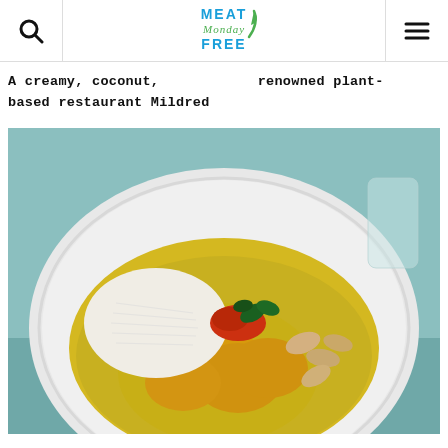Meat Free Monday — navigation header with search and menu icons
A creamy, coconut, renowned plant-based restaurant Mildred
[Figure (photo): A white bowl containing a yellow coconut curry with chunks of butternut squash, white rice, cashew nuts, fresh herbs, and a red chilli topping, served on a teal/blue background.]